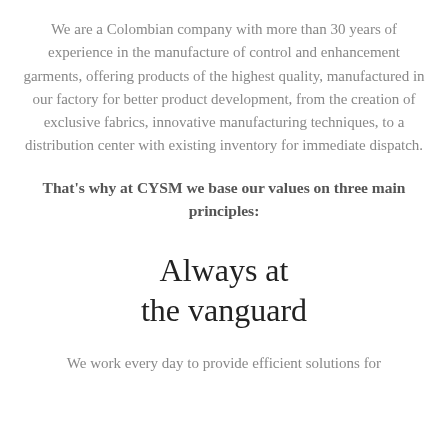We are a Colombian company with more than 30 years of experience in the manufacture of control and enhancement garments, offering products of the highest quality, manufactured in our factory for better product development, from the creation of exclusive fabrics, innovative manufacturing techniques, to a distribution center with existing inventory for immediate dispatch.
That's why at CYSM we base our values on three main principles:
Always at the vanguard
We work every day to provide efficient solutions for